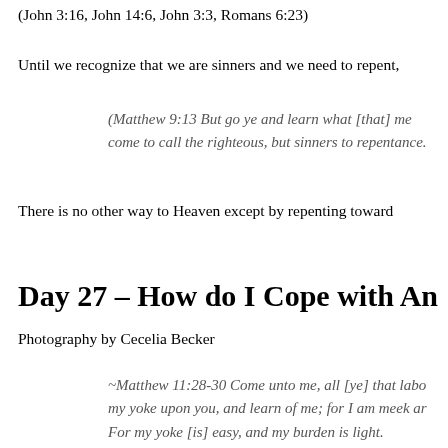(John 3:16, John 14:6, John 3:3, Romans 6:23)
Until we recognize that we are sinners and we need to repent,
(Matthew 9:13 But go ye and learn what [that] me come to call the righteous, but sinners to repentance.
There is no other way to Heaven except by repenting toward
Day 27 – How do I Cope with An
Photography by Cecelia Becker
~Matthew 11:28-30 Come unto me, all [ye] that labo my yoke upon you, and learn of me; for I am meek ar For my yoke [is] easy, and my burden is light.